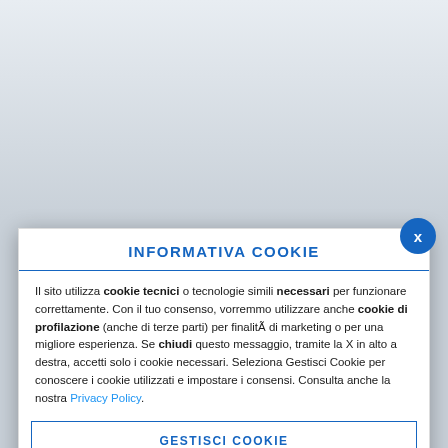INFORMATIVA COOKIE
Il sito utilizza cookie tecnici o tecnologie simili necessari per funzionare correttamente. Con il tuo consenso, vorremmo utilizzare anche cookie di profilazione (anche di terze parti) per finalità di marketing o per una migliore esperienza. Se chiudi questo messaggio, tramite la X in alto a destra, accetti solo i cookie necessari. Seleziona Gestisci Cookie per conoscere i cookie utilizzati e impostare i consensi. Consulta anche la nostra Privacy Policy.
GESTISCI COOKIE
ACCETTA SOLO I NECESSARI
ACCETTA TUTTI